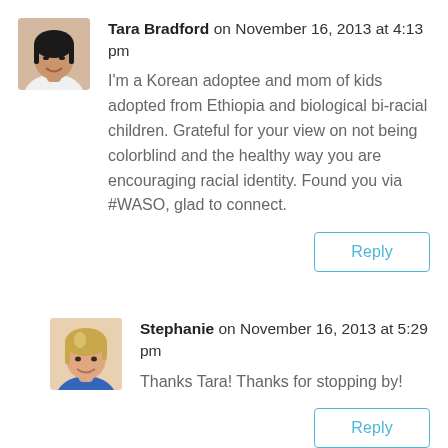Tara Bradford on November 16, 2013 at 4:13 pm
I'm a Korean adoptee and mom of kids adopted from Ethiopia and biological bi-racial children. Grateful for your view on not being colorblind and the healthy way you are encouraging racial identity. Found you via #WASO, glad to connect.
Reply
Stephanie on November 16, 2013 at 5:29 pm
Thanks Tara! Thanks for stopping by!
Reply